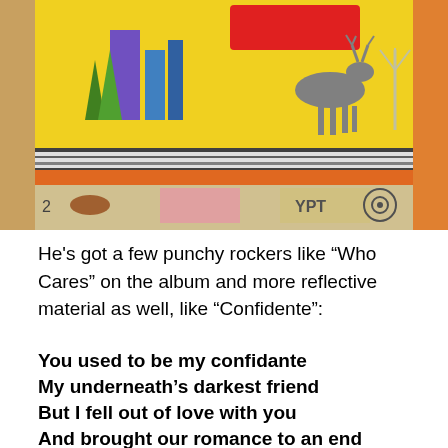[Figure (photo): Album cover art showing a colorful collage with a yellow background, silhouette of a deer/antelope, various stamp-like images including text 'YPT', a red rectangle, wind turbines, and other mixed media elements.]
He's got a few punchy rockers like “Who Cares” on the album and more reflective material as well, like “Confidente”:
You used to be my confidante
My underneath’s darkest friend
But I fell out of love with you
And brought our romance to an end
I played with you throughout the day
And told you every secret thought
Unlike my other so-called friends
You stood beside me as I fought